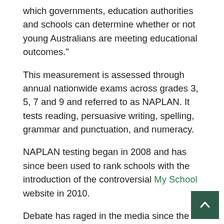which governments, education authorities and schools can determine whether or not young Australians are meeting educational outcomes."
This measurement is assessed through annual nationwide exams across grades 3, 5, 7 and 9 and referred to as NAPLAN. It tests reading, persuasive writing, spelling, grammar and punctuation, and numeracy.
NAPLAN testing began in 2008 and has since been used to rank schools with the introduction of the controversial My School website in 2010.
Debate has raged in the media since the introduction of NAPLAN and much has been made about its effectiveness and accuracy.